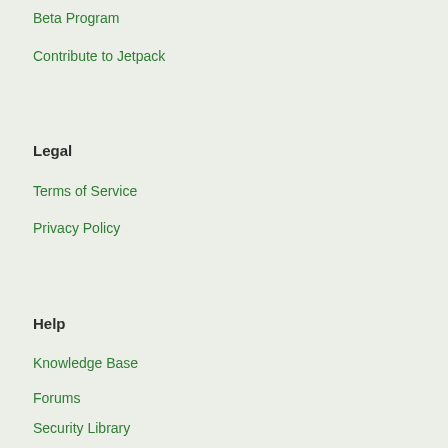Beta Program
Contribute to Jetpack
Legal
Terms of Service
Privacy Policy
Help
Knowledge Base
Forums
Security Library
Contact Us